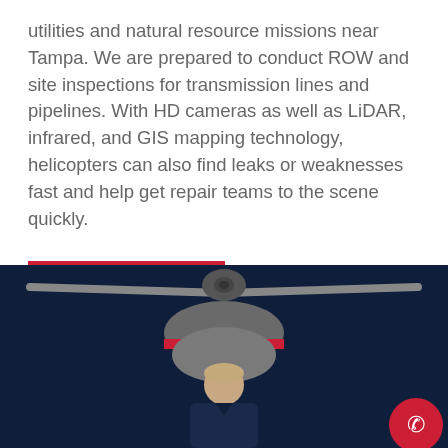utilities and natural resource missions near Tampa. We are prepared to conduct ROW and site inspections for transmission lines and pipelines. With HD cameras as well as LiDAR, infrared, and GIS mapping technology, helicopters can also find leaks or weaknesses fast and help get repair teams to the scene quickly.
LEARN MORE
[Figure (photo): A female helicopter pilot standing in front of a large helicopter with rotor blades visible, photographed against a dark navy blue background. A red circular phone call button is visible in the bottom right corner.]